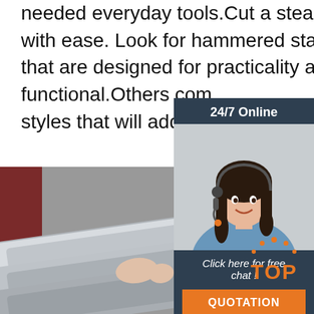needed everyday tools.Cut a steak or grab a bite of pasta with ease. Look for hammered stainless steel cutlery set. that are designed for practicality and imply to be functional.Others com styles that will add a decorative eleme
[Figure (other): Customer service widget showing a woman with headset, '24/7 Online' header, 'Click here for free chat!' text, and 'QUOTATION' button]
Get Price
[Figure (photo): Person holding stainless steel trays/pans, close-up product shot with grey background]
[Figure (logo): TOP badge/logo in orange with decorative dots arc above]